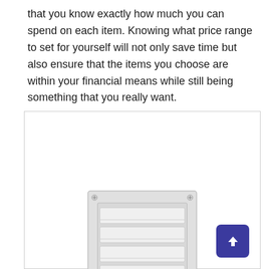that you know exactly how much you can spend on each item. Knowing what price range to set for yourself will not only save time but also ensure that the items you choose are within your financial means while still being something that you really want.
[Figure (photo): A white wall-mounted ventilation grille/vent cover with horizontal louvered slats inside a square frame with corner screws, displayed inside a bordered box. A dark blue rounded square button with an upward arrow is overlaid at the bottom right.]